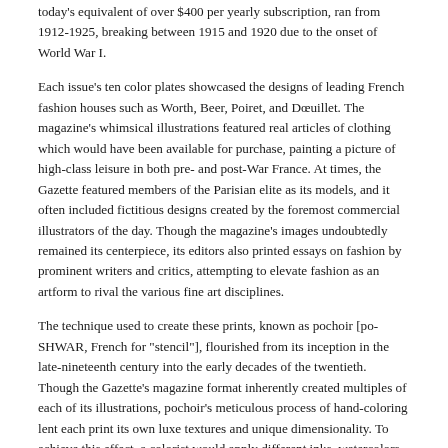today's equivalent of over $400 per yearly subscription, ran from 1912-1925, breaking between 1915 and 1920 due to the onset of World War I.
Each issue's ten color plates showcased the designs of leading French fashion houses such as Worth, Beer, Poiret, and Dœuillet. The magazine's whimsical illustrations featured real articles of clothing which would have been available for purchase, painting a picture of high-class leisure in both pre- and post-War France. At times, the Gazette featured members of the Parisian elite as its models, and it often included fictitious designs created by the foremost commercial illustrators of the day. Though the magazine's images undoubtedly remained its centerpiece, its editors also printed essays on fashion by prominent writers and critics, attempting to elevate fashion as an artform to rival the various fine art disciplines.
The technique used to create these prints, known as pochoir [po-SHWAR, French for "stencil"], flourished from its inception in the late-nineteenth century into the early decades of the twentieth. Though the Gazette's magazine format inherently created multiples of each of its illustrations, pochoir's meticulous process of hand-coloring lent each print its own luxe textures and unique dimensionality. To achieve this effect, a colorist would apply different inks, watercolors, or gouaches onto an uncolored print through pre-cut stencils. Painting each hue through the appropriate stencil,